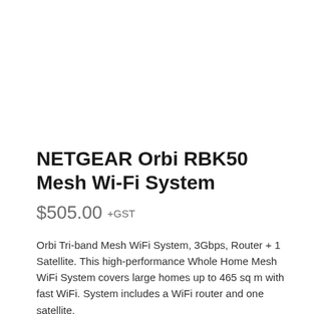NETGEAR Orbi RBK50 Mesh Wi-Fi System
$505.00 +GST
Orbi Tri-band Mesh WiFi System, 3Gbps, Router + 1 Satellite. This high-performance Whole Home Mesh WiFi System covers large homes up to 465 sq m with fast WiFi. System includes a WiFi router and one satellite.
In stock